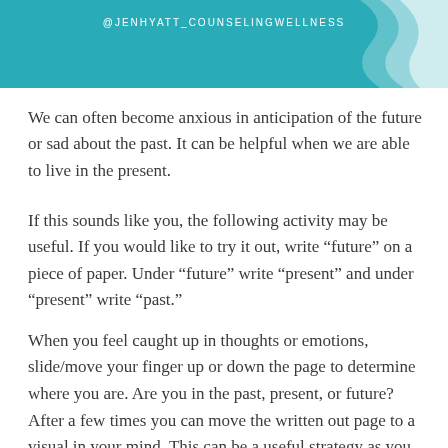[Figure (illustration): Teal/turquoise header banner with the text @JENHYATT_COUNSELINGWELLNESS centered, and a white decorative wave/ribbon shape in the upper right corner]
We can often become anxious in anticipation of the future or sad about the past. It can be helpful when we are able to live in the present.
If this sounds like you, the following activity may be useful. If you would like to try it out, write “future” on a piece of paper. Under “future” write “present” and under “present” write “past.”
When you feel caught up in thoughts or emotions, slide/move your finger up or down the page to determine where you are. Are you in the past, present, or future?
After a few times you can move the written out page to a visual in your mind. This can be a useful strategy as you move